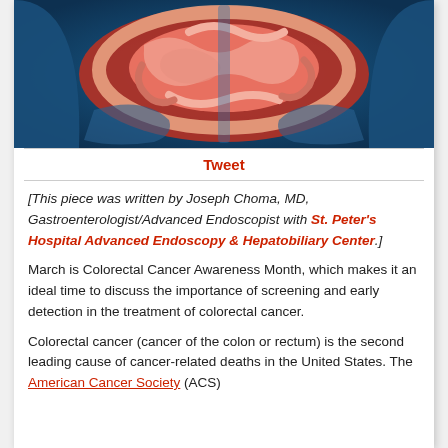[Figure (illustration): Medical illustration of the human digestive system/intestines shown in red/pink against a blue x-ray-style background of a human torso.]
Tweet
[This piece was written by Joseph Choma, MD, Gastroenterologist/Advanced Endoscopist with St. Peter's Hospital Advanced Endoscopy & Hepatobiliary Center.]
March is Colorectal Cancer Awareness Month, which makes it an ideal time to discuss the importance of screening and early detection in the treatment of colorectal cancer.
Colorectal cancer (cancer of the colon or rectum) is the second leading cause of cancer-related deaths in the United States. The American Cancer Society (ACS)